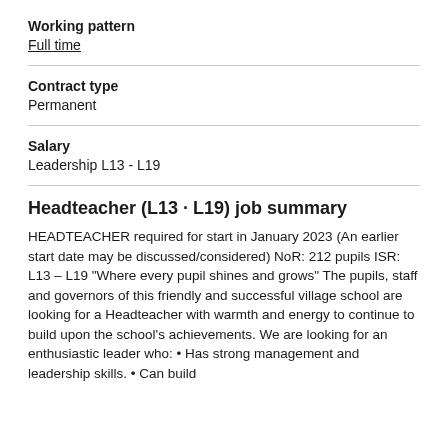Working pattern
Full time
Contract type
Permanent
Salary
Leadership L13 - L19
Headteacher (L13 - L19) job summary
HEADTEACHER required for start in January 2023 (An earlier start date may be discussed/considered) NoR: 212 pupils ISR: L13 – L19 “Where every pupil shines and grows” The pupils, staff and governors of this friendly and successful village school are looking for a Headteacher with warmth and energy to continue to build upon the school’s achievements. We are looking for an enthusiastic leader who: • Has strong management and leadership skills. • Can build